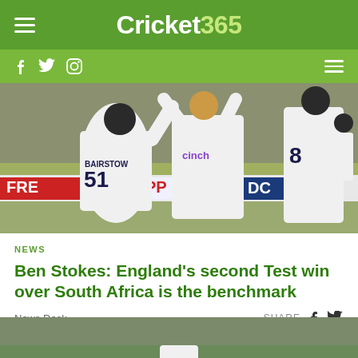Cricket365
[Figure (photo): Cricket players celebrating on field, player with number 51 (Bairstow) and player in cinch jersey (Ben Stokes) raising hands]
NEWS
Ben Stokes: England’s second Test win over South Africa is the benchmark
News Desk
SHARE
[Figure (photo): Ben Stokes celebrating, partial view from bottom of page]